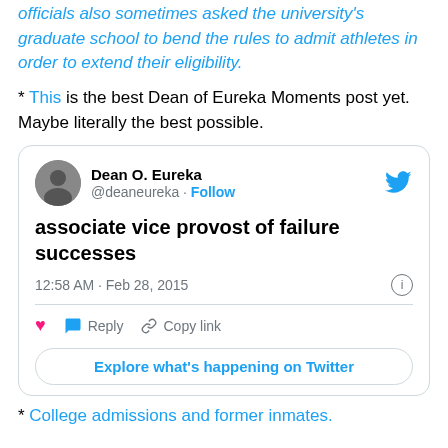officials also sometimes asked the university's graduate school to bend the rules to admit athletes in order to extend their eligibility.
* This is the best Dean of Eureka Moments post yet. Maybe literally the best possible.
[Figure (screenshot): Embedded tweet from @deaneureka reading 'associate vice provost of failure successes', posted 12:58 AM · Feb 28, 2015, with Reply, Copy link actions and Explore what's happening on Twitter button.]
* College admissions and former inmates.